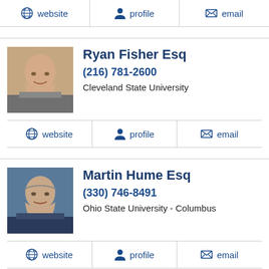website  profile  email
[Figure (photo): Headshot of Ryan Fisher Esq, middle-aged man in suit]
Ryan Fisher Esq
(216) 781-2600
Cleveland State University
website  profile  email
[Figure (photo): Headshot of Martin Hume Esq, older man in suit against blue background]
Martin Hume Esq
(330) 746-8491
Ohio State University - Columbus
website  profile  email
Jeannette M. Weaver Esq